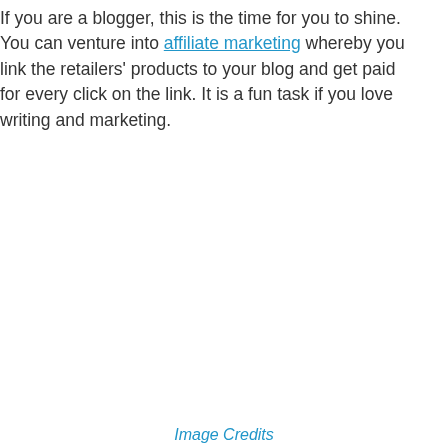If you are a blogger, this is the time for you to shine. You can venture into affiliate marketing whereby you link the retailers' products to your blog and get paid for every click on the link. It is a fun task if you love writing and marketing.
Image Credits